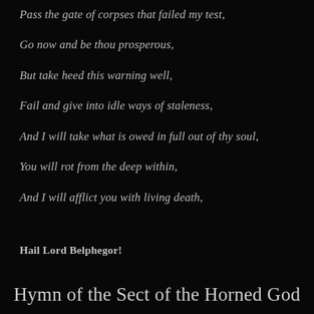Pass the gate of corpses that failed my test,
Go now and be thou prosperous,
But take heed this warning well,
Fail and give into idle ways of staleness,
And I will take what is owed in full out of thy soul,
You will rot from the deep within,
And I will afflict you with living death,
Hail Lord Belphegor!
Hymn of the Sect of the Horned God